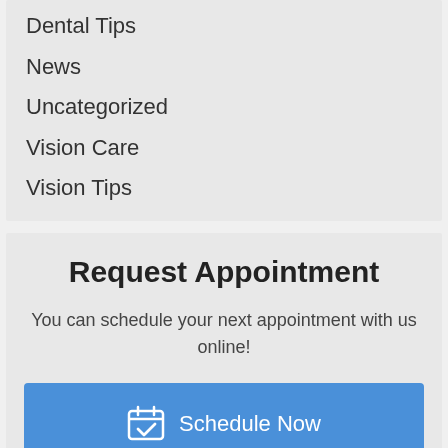Dental Tips
News
Uncategorized
Vision Care
Vision Tips
Request Appointment
You can schedule your next appointment with us online!
Schedule Now
(206) 429-4841